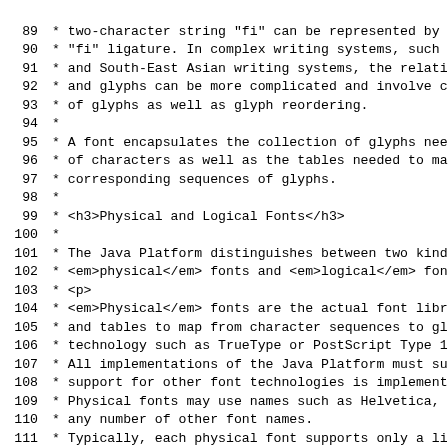Source code listing showing lines 89-118 of a Java documentation comment about fonts and glyphs, including discussion of physical and logical fonts.